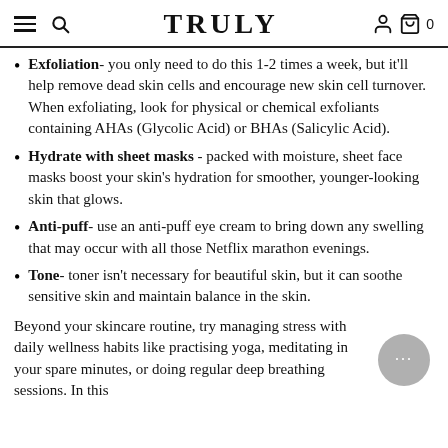TRULY
Exfoliation- you only need to do this 1-2 times a week, but it'll help remove dead skin cells and encourage new skin cell turnover. When exfoliating, look for physical or chemical exfoliants containing AHAs (Glycolic Acid) or BHAs (Salicylic Acid).
Hydrate with sheet masks - packed with moisture, sheet face masks boost your skin's hydration for smoother, younger-looking skin that glows.
Anti-puff- use an anti-puff eye cream to bring down any swelling that may occur with all those Netflix marathon evenings.
Tone- toner isn't necessary for beautiful skin, but it can soothe sensitive skin and maintain balance in the skin.
Beyond your skincare routine, try managing stress with daily wellness habits like practising yoga, meditating in your spare minutes, or doing regular deep breathing sessions. In this